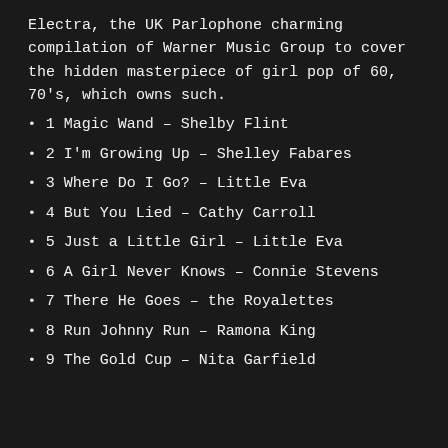Electra, the UK Parlophone charming compilation of Warner Music Group to cover the hidden masterpiece of girl pop of 60, 70's, which owns such.
1 Magic Wand – Shelby Flint
2 I'm Growing Up – Shelley Fabares
3 Where Do I Go? – Little Eva
4 But You Lied – Cathy Carroll
5 Just a Little Girl – Little Eva
6 A Girl Never Knows – Connie Stevens
7 There He Goes – the Royalettes
8 Run Johnny Run – Ramona King
9 The Gold Cup – Nita Garfield